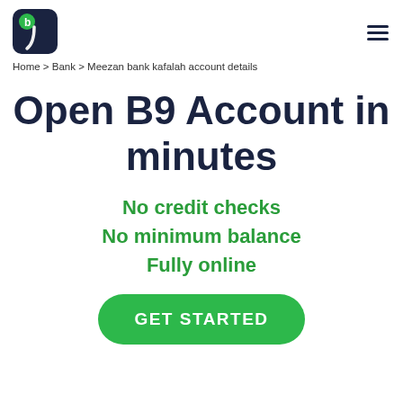B9 logo and navigation hamburger menu
Home > Bank > Meezan bank kafalah account details
Open B9 Account in minutes
No credit checks
No minimum balance
Fully online
GET STARTED